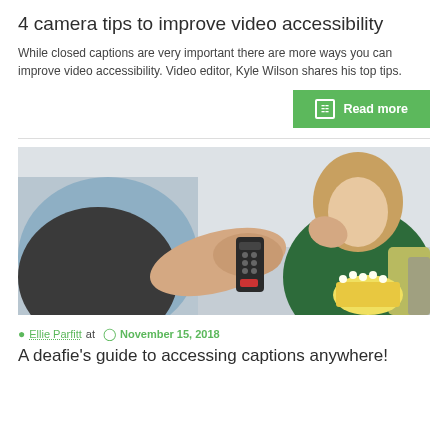4 camera tips to improve video accessibility
While closed captions are very important there are more ways you can improve video accessibility. Video editor, Kyle Wilson shares his top tips.
Read more
[Figure (photo): Person holding a TV remote control pointing it forward, with a woman in the background eating popcorn on a couch]
Ellie Parfitt at November 15, 2018
A deafie's guide to accessing captions anywhere!